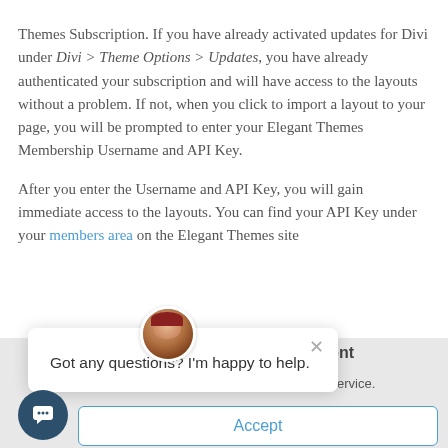Themes Subscription. If you have already activated updates for Divi under Divi > Theme Options > Updates, you have already authenticated your subscription and will have access to the layouts without a problem. If not, when you click to import a layout to your page, you will be prompted to enter your Elegant Themes Membership Username and API Key.
After you enter the Username and API Key, you will gain immediate access to the layouts. You can find your API Key under your members area on the Elegant Themes site.
[Figure (screenshot): Chat popup widget with avatar showing 'Got any questions? I'm happy to help.' and a close X button, overlaying a consent bar with partial text 'Consent' and 'nd our service.' and an Accept button. A dark teal chat icon button is visible bottom-left.]